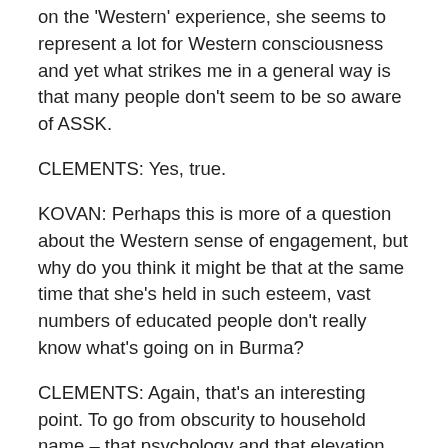on the 'Western' experience, she seems to represent a lot for Western consciousness and yet what strikes me in a general way is that many people don't seem to be so aware of ASSK.
CLEMENTS: Yes, true.
KOVAN: Perhaps this is more of a question about the Western sense of engagement, but why do you think it might be that at the same time that she's held in such esteem, vast numbers of educated people don't really know what's going on in Burma?
CLEMENTS: Again, that's an interesting point. To go from obscurity to household name – that psychology and that elevation requires, I guess, a person-to-person transmission of importance in how one brings that larger world into your own personal relationships; ASSK as a